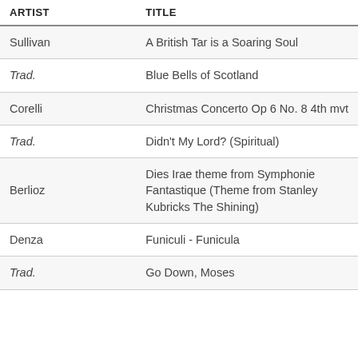| ARTIST | TITLE |
| --- | --- |
| Sullivan | A British Tar is a Soaring Soul |
| Trad. | Blue Bells of Scotland |
| Corelli | Christmas Concerto Op 6 No. 8 4th mvt |
| Trad. | Didn't My Lord? (Spiritual) |
| Berlioz | Dies Irae theme from Symphonie Fantastique (Theme from Stanley Kubricks The Shining) |
| Denza | Funiculi - Funicula |
| Trad. | Go Down, Moses |